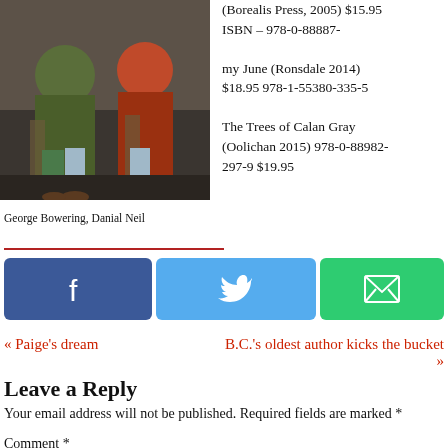[Figure (photo): Two people seated in chairs, one in a green jacket and one in a red plaid shirt, in an indoor setting]
(Borealis Press, 2005) $15.95 ISBN – 978-0-88887-
my June (Ronsdale 2014) $18.95 978-1-55380-335-5
The Trees of Calan Gray (Oolichan 2015) 978-0-88982-297-9 $19.95
George Bowering, Danial Neil
[Figure (infographic): Social sharing buttons: Facebook (dark blue), Twitter (light blue), Email (green)]
« Paige's dream
B.C.'s oldest author kicks the bucket »
Leave a Reply
Your email address will not be published. Required fields are marked *
Comment *